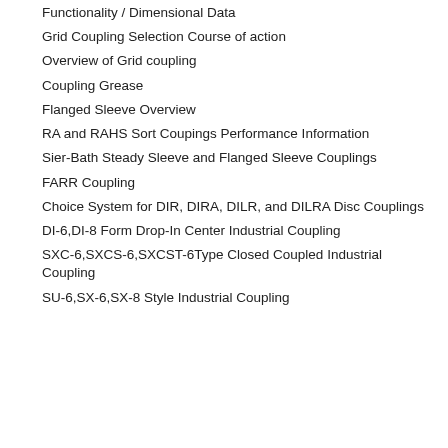Functionality / Dimensional Data
Grid Coupling Selection Course of action
Overview of Grid coupling
Coupling Grease
Flanged Sleeve Overview
RA and RAHS Sort Coupings Performance Information
Sier-Bath Steady Sleeve and Flanged Sleeve Couplings
FARR Coupling
Choice System for DIR, DIRA, DILR, and DILRA Disc Couplings
DI-6,DI-8 Form Drop-In Center Industrial Coupling
SXC-6,SXCS-6,SXCST-6Type Closed Coupled Industrial Coupling
SU-6,SX-6,SX-8 Style Industrial Coupling